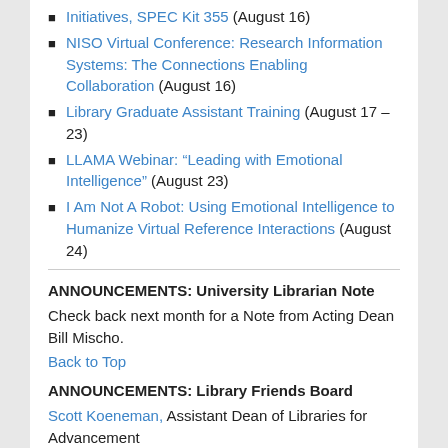Initiatives, SPEC Kit 355 (August 16)
NISO Virtual Conference: Research Information Systems: The Connections Enabling Collaboration (August 16)
Library Graduate Assistant Training (August 17 – 23)
LLAMA Webinar: “Leading with Emotional Intelligence” (August 23)
I Am Not A Robot: Using Emotional Intelligence to Humanize Virtual Reference Interactions (August 24)
ANNOUNCEMENTS: University Librarian Note
Check back next month for a Note from Acting Dean Bill Mischo.
Back to Top
ANNOUNCEMENTS: Library Friends Board
Scott Koeneman, Assistant Dean of Libraries for Advancement